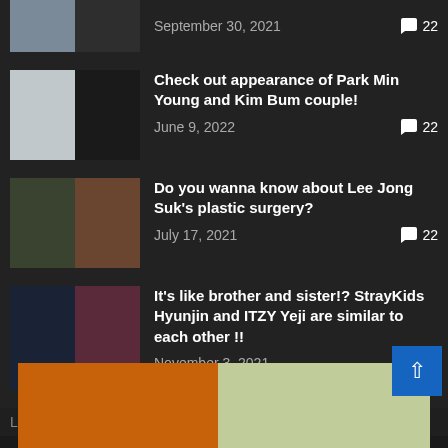September 30, 2021 — 22 comments
Check out appearance of Park Min Young and Kim Bum couple! June 9, 2022 — 22 comments
Do you wanna know about Lee Jong Suk's plastic surgery? July 17, 2021 — 22 comments
It's like brother and sister!? StrayKids Hyunjin and ITZY Yeji are similar to each other !! November 3, 2021 — 22 comments
Let's see the most popular BTS